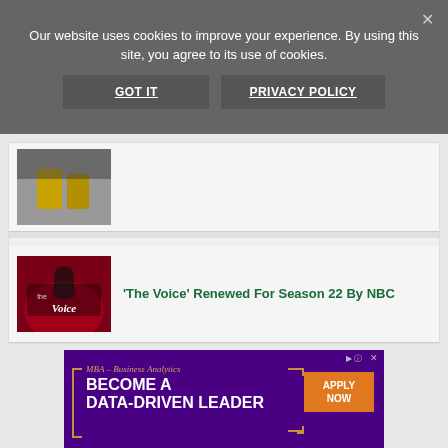Our website uses cookies to improve your experience. By using this site, you agree to its use of cookies.
GOT IT
PRIVACY POLICY
[Figure (photo): Thumbnail image showing figures in yellow clothing against dark background]
'The Voice' Renewed For Season 22 By NBC
[Figure (photo): The Voice TV show logo/thumbnail with dark red background]
[Figure (other): Advertisement banner for High Point University MBA Business Analytics program - BECOME A DATA-DRIVEN LEADER with APPLY NOW button]